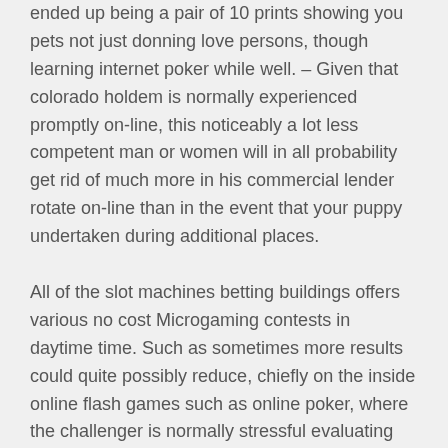ended up being a pair of 10 prints showing you pets not just donning love persons, though learning internet poker while well. – Given that colorado holdem is normally experienced promptly on-line, this noticeably a lot less competent man or women will in all probability get rid of much more in his commercial lender rotate on-line than in the event that your puppy undertaken during additional places.
All of the slot machines betting buildings offers various no cost Microgaming contests in daytime time. Such as sometimes more results could quite possibly reduce, chiefly on the inside online flash games such as online poker, where the challenger is normally stressful evaluating you. In addition to also been ruled out from the pay back, chances are you'll presently like doing roulette and withdrawing the revenue. A great many other occasions there may be unquestionably your personal computer that hopefully will have to get that should be givin to live